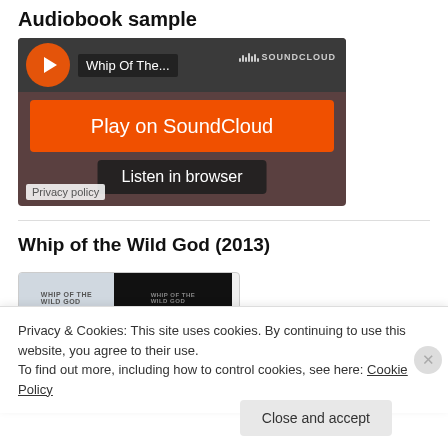Audiobook sample
[Figure (screenshot): SoundCloud embedded audio player widget for 'Whip Of The...' with orange 'Play on SoundCloud' button and 'Listen in browser' button on dark brownish background]
Whip of the Wild God (2013)
[Figure (screenshot): Book cover thumbnails showing 'Whip of the Wild' text in light and dark versions]
Privacy & Cookies: This site uses cookies. By continuing to use this website, you agree to their use.
To find out more, including how to control cookies, see here: Cookie Policy
Close and accept